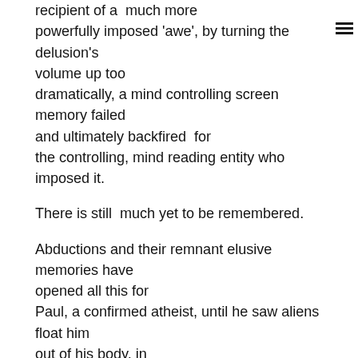recipient of a  much more powerfully imposed 'awe', by turning the delusion's volume up too dramatically, a mind controlling screen memory failed and ultimately backfired  for the controlling, mind reading entity who imposed it.

There is still  much yet to be remembered.

Abductions and their remnant elusive memories have opened all this for Paul, a confirmed atheist, until he saw aliens float him out of his body, in his  bed, at night.  Then, he knew  that they were interested in an essence he never suspected that he had; a soul. Our spiritual powers that interest and  addict interdimensionals are the very powers that  can be used to thwart further attacks.